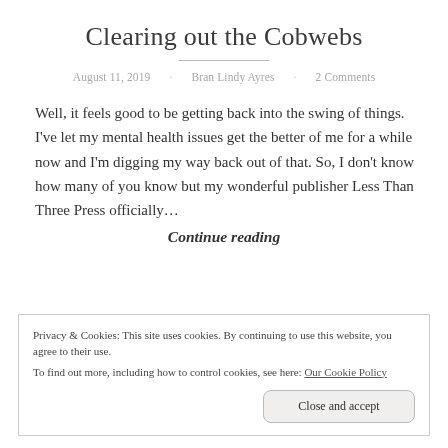Clearing out the Cobwebs
August 11, 2019 · Bran Lindy Ayres · 2 Comments
Well, it feels good to be getting back into the swing of things. I've let my mental health issues get the better of me for a while now and I'm digging my way back out of that. So, I don't know how many of you know but my wonderful publisher Less Than Three Press officially...
Continue reading
Privacy & Cookies: This site uses cookies. By continuing to use this website, you agree to their use. To find out more, including how to control cookies, see here: Our Cookie Policy
Close and accept